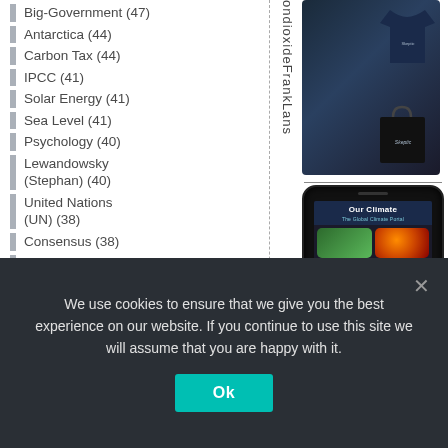Big-Government (47)
Antarctica (44)
Carbon Tax (44)
IPCC (41)
Solar Energy (41)
Sea Level (41)
Psychology (40)
Lewandowsky (Stephan) (40)
United Nations (UN) (38)
Consensus (38)
YouTube (38)
Journalism (37)
USA (37)
[Figure (photo): Skeptic branded merchandise including a navy polo shirt and black tote bag with Skeptic branding, on dark background]
[Figure (screenshot): Smartphone displaying 'Our Climate - The Global Climate Portal' app with app icons for various climate topics]
We use cookies to ensure that we give you the best experience on our website. If you continue to use this site we will assume that you are happy with it.